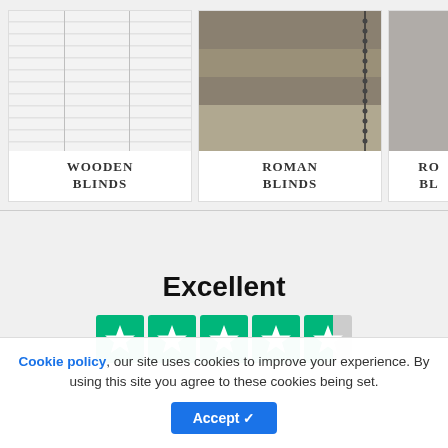[Figure (photo): Product card showing white wooden blinds with horizontal slats and pull cords, labeled WOODEN BLINDS]
WOODEN BLINDS
[Figure (photo): Product card showing grey roman blinds folded and partially raised with a chain mechanism, labeled ROMAN BLINDS]
ROMAN BLINDS
[Figure (photo): Partial product card (cut off) showing grey roller blind, labeled RO... BL...]
Excellent
[Figure (other): Trustpilot rating showing 4.5 out of 5 stars — five green star boxes with star icons, the last one half-filled]
Cookie policy, our site uses cookies to improve your experience. By using this site you agree to these cookies being set.
Accept ✓